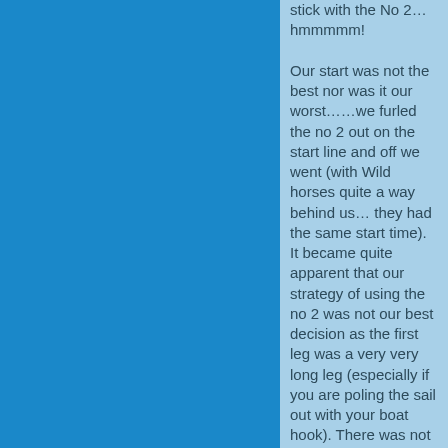stick with the No 2… hmmmmm!
Our start was not the best nor was it our worst……we furled the no 2 out on the start line and off we went (with Wild horses quite a way behind us… they had the same start time).  It became quite apparent that our strategy of using the no 2 was not our best decision as the first leg was a very very long leg (especially if you are poling the sail out with your boat hook).   There was not much we could do without a kite but we worked hard  to try to